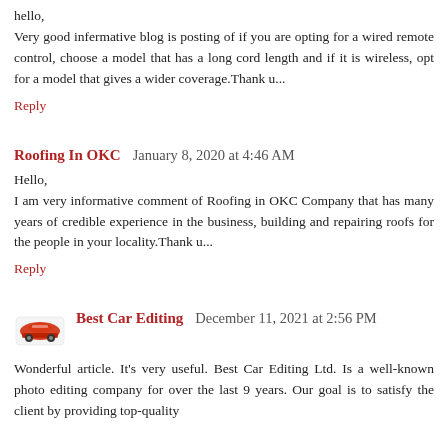hello,
Very good infermative blog is posting of if you are opting for a wired remote control, choose a model that has a long cord length and if it is wireless, opt for a model that gives a wider coverage.Thank u...
Reply
Roofing In OKC  January 8, 2020 at 4:46 AM
Hello,
I am very informative comment of Roofing in OKC Company that has many years of credible experience in the business, building and repairing roofs for the people in your locality.Thank u...
Reply
Best Car Editing  December 11, 2021 at 2:56 PM
Wonderful article. It's very useful. Best Car Editing Ltd. Is a well-known photo editing company for over the last 9 years. Our goal is to satisfy the client by providing top-quality